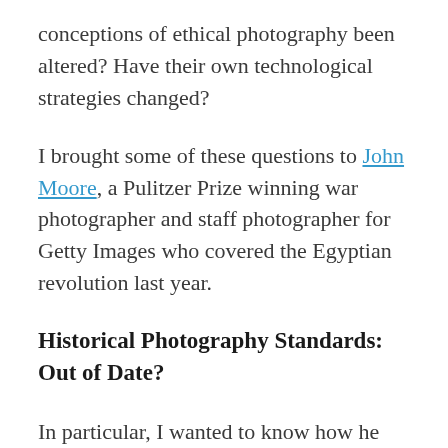conceptions of ethical photography been altered? Have their own technological strategies changed?
I brought some of these questions to John Moore, a Pulitzer Prize winning war photographer and staff photographer for Getty Images who covered the Egyptian revolution last year.
Historical Photography Standards: Out of Date?
In particular, I wanted to know how he